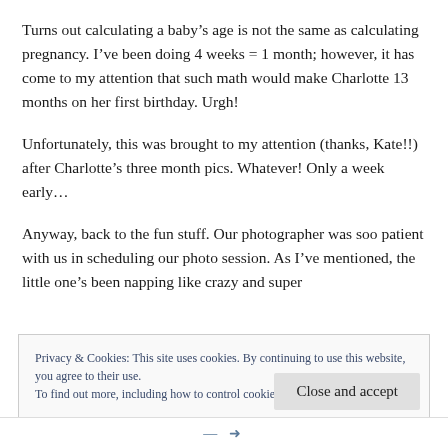Turns out calculating a baby's age is not the same as calculating pregnancy. I've been doing 4 weeks = 1 month; however, it has come to my attention that such math would make Charlotte 13 months on her first birthday. Urgh!
Unfortunately, this was brought to my attention (thanks, Kate!!) after Charlotte's three month pics. Whatever! Only a week early...
Anyway, back to the fun stuff. Our photographer was soo patient with us in scheduling our photo session. As I've mentioned, the little one's been napping like crazy and super
Privacy & Cookies: This site uses cookies. By continuing to use this website, you agree to their use.
To find out more, including how to control cookies, see here: Cookie Policy
Close and accept